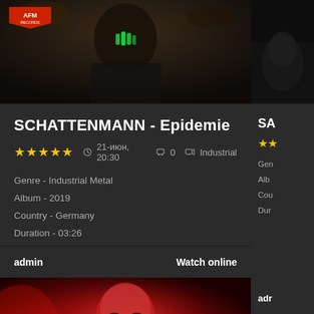[Figure (photo): Top portion showing a performer in dark costume with green-tinted teeth/accessories, AFM Records logo visible in top-left corner]
SCHATTENMANN - Epidemie
★★★★★  🕐 21-июн, 20:30  💬 0  📁 Industrial
Genre - Industrial Metal
Album - 2019
Country - Germany
Duration - 03:26
admin    Watch online
[Figure (photo): Bottom music video still: a bald man illuminated in deep red lighting, moody dramatic scene]
[Figure (photo): Right column partial: dark/smoke scene, partial card showing 'SA' title, stars, and partial Genre/Album/Country/Duration info]